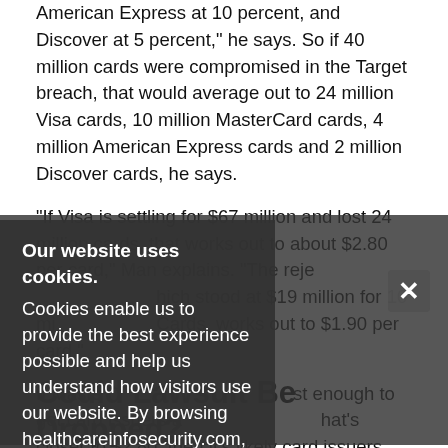market, followed by MasterCard at about 25 percent, American Express at 10 percent, and Discover at 5 percent," he says. So if 40 million cards were compromised in the Target breach, that would average out to 24 million Visa cards, 10 million MasterCard cards, 4 million American Express cards and 2 million Discover cards, he says.
"If Visa is settling for $67 million and lost 24 million cards, that works out to about $2.80 per card," Man explains. "The rejection for MasterCard, which stood at $19 million for 10 million MasterCard cards, works out to $1.90 per card."
If MasterCard ups its amount just enough to get card issuers a reimbursement that's closer to $2.80, then it's likely card issuers will accept the deal and forget the lawsuit, he contends.
[Figure (other): Cookie consent overlay dialog with dark background. Title: 'Our website uses cookies.' Body: 'Cookies enable us to provide the best experience possible and help us understand how visitors use our website. By browsing healthcareinfosecurity.com, you agree to our use of cookies.' Close button (X) at right.]
Could Lawsuit Be Dropped?